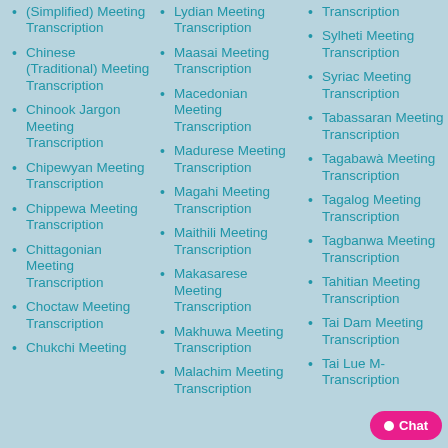(Simplified) Meeting Transcription
Chinese (Traditional) Meeting Transcription
Chinook Jargon Meeting Transcription
Chipewyan Meeting Transcription
Chippewa Meeting Transcription
Chittagonian Meeting Transcription
Choctaw Meeting Transcription
Chukchi Meeting
Lydian Meeting Transcription
Maasai Meeting Transcription
Macedonian Meeting Transcription
Madurese Meeting Transcription
Magahi Meeting Transcription
Maithili Meeting Transcription
Makasarese Meeting Transcription
Makhuwa Meeting Transcription
Malachim Meeting Transcription
Transcription
Sylheti Meeting Transcription
Syriac Meeting Transcription
Tabassaran Meeting Transcription
Tagabawà Meeting Transcription
Tagalog Meeting Transcription
Tagbanwa Meeting Transcription
Tahitian Meeting Transcription
Tai Dam Meeting Transcription
Tai Lue Meeting Transcription